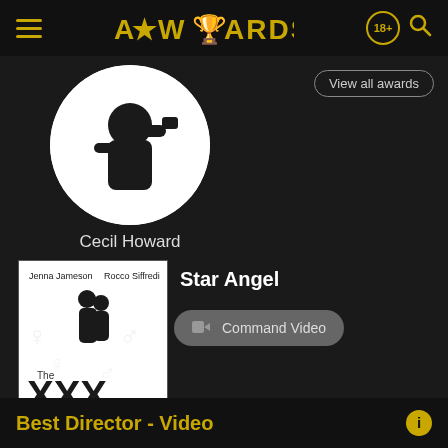ATWARDS (18+)
View all awards
[Figure (photo): Profile silhouette of a person in circular avatar frame]
Cecil Howard
[Figure (photo): Movie poster for 'The XXX Movie' featuring Jenna Jameson and Rocco Siffredi silhouette]
Star Angel
Command Video
Best Director - Video